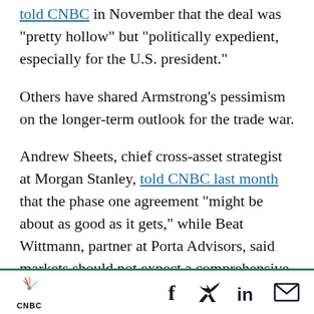told CNBC in November that the deal was “pretty hollow” but “politically expedient, especially for the U.S. president.”
Others have shared Armstrong’s pessimism on the longer-term outlook for the trade war.
Andrew Sheets, chief cross-asset strategist at Morgan Stanley, told CNBC last month that the phase one agreement “might be about as good as it gets,” while Beat Wittmann, partner at Porta Advisors, said markets should not expect a comprehensive trade deal between the U.S. and China.
CNBC logo and social share icons